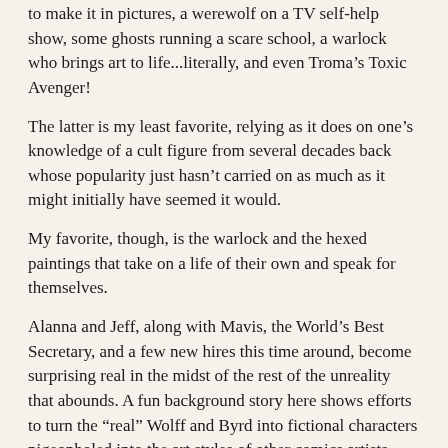to make it in pictures, a werewolf on a TV self-help show, some ghosts running a scare school, a warlock who brings art to life...literally, and even Troma's Toxic Avenger!
The latter is my least favorite, relying as it does on one's knowledge of a cult figure from several decades back whose popularity just hasn't carried on as much as it might initially have seemed it would.
My favorite, though, is the warlock and the hexed paintings that take on a life of their own and speak for themselves.
Alanna and Jeff, along with Mavis, the World's Best Secretary, and a few new hires this time around, become surprising real in the midst of the rest of the unreality that abounds. A fun background story here shows efforts to turn the “real” Wolff and Byrd into fictional characters pigeonholed into the art styles of other comics artists including Frank Miller’s SIN CITY style.
Bottom line? A VAMPIRE IN HOLLYWOOD offered some of the most enjoyable experiences I’ve had reading comics in ages. It’s a well-plotted series with good stories, a little drama, a little horror,